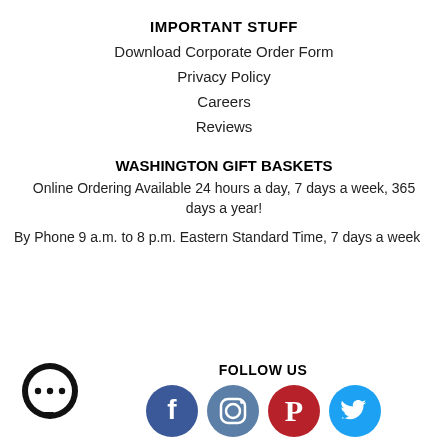IMPORTANT STUFF
Download Corporate Order Form
Privacy Policy
Careers
Reviews
WASHINGTON GIFT BASKETS
Online Ordering Available 24 hours a day, 7 days a week, 365 days a year!
By Phone 9 a.m. to 8 p.m. Eastern Standard Time, 7 days a week
[Figure (logo): Chat bubble icon with three dots]
FOLLOW US
[Figure (logo): Social media icons: Facebook, Instagram, Pinterest, Twitter]